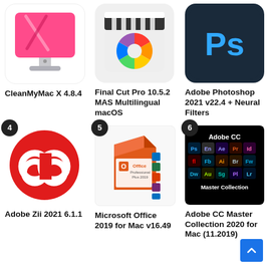[Figure (illustration): CleanMyMac X app icon - pink iMac monitor on grey stand]
CleanMyMac X 4.8.4
[Figure (illustration): Final Cut Pro app icon - film clapper with rainbow wheel]
Final Cut Pro 10.5.2 MAS Multilingual macOS
[Figure (illustration): Adobe Photoshop 2021 icon - dark blue square with Ps]
Adobe Photoshop 2021 v22.4 + Neural Filters
[Figure (illustration): Adobe Zii 2021 - red circle with Creative Cloud logo (number badge 4)]
Adobe Zii 2021 6.1.1
[Figure (illustration): Microsoft Office Professional Plus 2019 box (number badge 5)]
Microsoft Office 2019 for Mac v16.49
[Figure (illustration): Adobe CC Master Collection 2020 - black grid of app icons (number badge 6)]
Adobe CC Master Collection 2020 for Mac (11.2019)